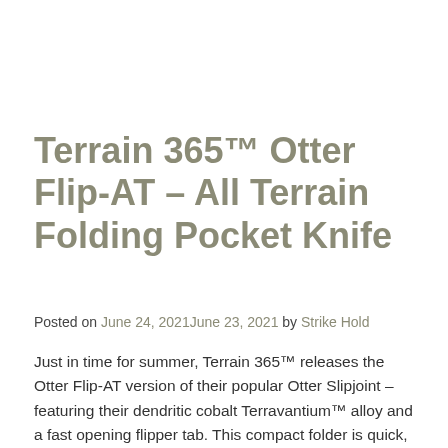Terrain 365™ Otter Flip-AT – All Terrain Folding Pocket Knife
Posted on June 24, 2021June 23, 2021 by Strike Hold
Just in time for summer, Terrain 365™ releases the Otter Flip-AT version of their popular Otter Slipjoint – featuring their dendritic cobalt Terravantium™ alloy and a fast opening flipper tab. This compact folder is quick, light, and engineered for use in any environment on land and even under water, without ever rusting, pitting or staining. [...]